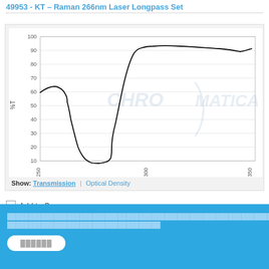49953 - KT – Raman 266nm Laser Longpass Set
[Figure (continuous-plot): Transmission spectrum plot showing %T (y-axis, 10-100) vs wavelength in nm (x-axis, 250-350). The curve starts around 73% at 250nm, dips sharply to a minimum near 5% around 270nm, then rises steeply to ~93% at 280nm and remains relatively flat between 88-97% from 280 to 350nm.]
Show: Transmission | Optical Density
Add to Compare
Cookie and Privacy Policy text (obscured)